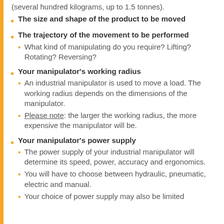(several hundred kilograms, up to 1.5 tonnes).
The size and shape of the product to be moved
The trajectory of the movement to be performed
What kind of manipulating do you require? Lifting? Rotating? Reversing?
Your manipulator's working radius
An industrial manipulator is used to move a load. The working radius depends on the dimensions of the manipulator.
Please note: the larger the working radius, the more expensive the manipulator will be.
Your manipulator's power supply
The power supply of your industrial manipulator will determine its speed, power, accuracy and ergonomics.
You will have to choose between hydraulic, pneumatic, electric and manual.
Your choice of power supply may also be limited